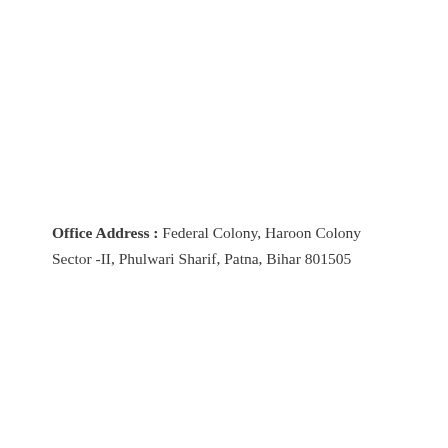Office Address : Federal Colony, Haroon Colony Sector -II, Phulwari Sharif, Patna, Bihar 801505